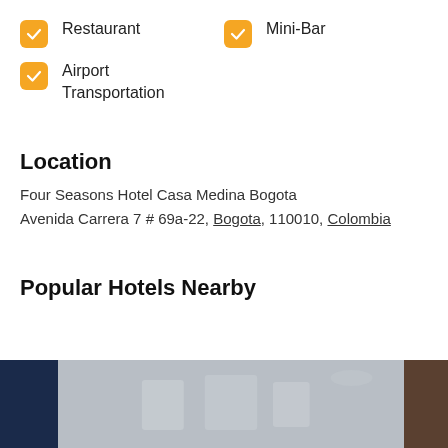Restaurant
Mini-Bar
Airport Transportation
Location
Four Seasons Hotel Casa Medina Bogota
Avenida Carrera 7 # 69a-22, Bogota, 110010, Colombia
Popular Hotels Nearby
[Figure (photo): Hotel thumbnail images strip showing three hotel photos side by side]